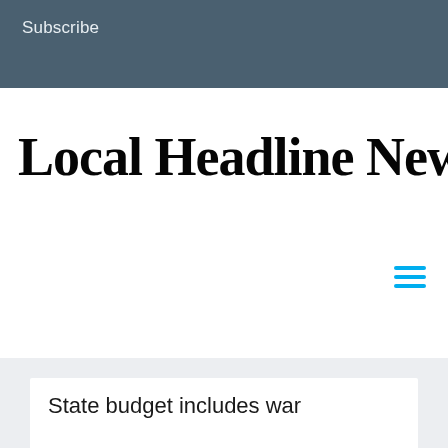Subscribe
Local Headline News
State budget includes war